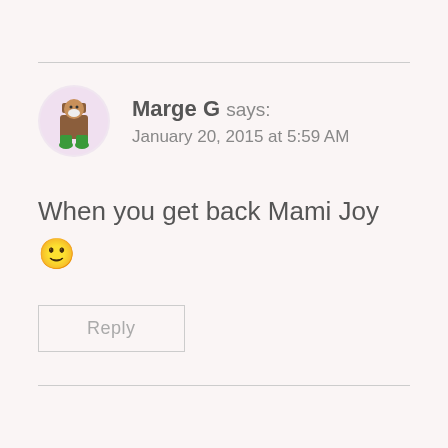Marge G says: January 20, 2015 at 5:59 AM
When you get back Mami Joy 🙂
Reply